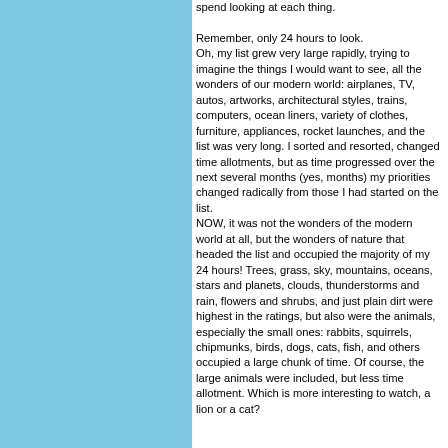spend looking at each thing. Remember, only 24 hours to look. Oh, my list grew very large rapidly, trying to imagine the things I would want to see, all the wonders of our modern world: airplanes, TV, autos, artworks, architectural styles, trains, computers, ocean liners, variety of clothes, furniture, appliances, rocket launches, and the list was very long. I sorted and resorted, changed time allotments, but as time progressed over the next several months (yes, months) my priorities changed radically from those I had started on the list. NOW, it was not the wonders of the modern world at all, but the wonders of nature that headed the list and occupied the majority of my 24 hours! Trees, grass, sky, mountains, oceans, stars and planets, clouds, thunderstorms and rain, flowers and shrubs, and just plain dirt were highest in the ratings, but also were the animals, especially the small ones: rabbits, squirrels, chipmunks, birds, dogs, cats, fish, and others occupied a large chunk of time. Of course, the large animals were included, but less time allotment. Which is more interesting to watch, a lion or a cat?